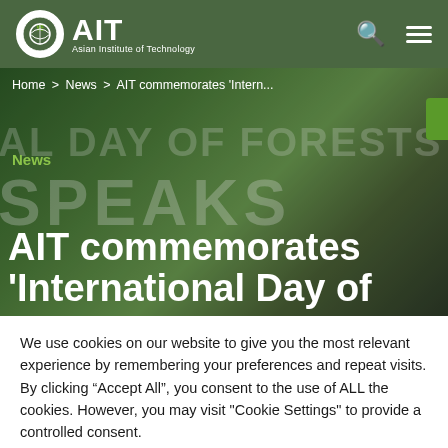AIT Asian Institute of Technology
[Figure (screenshot): Hero banner image showing International Day of Forests 2022 event with forest backdrop and people, overlaid with large text 'AL DAY OF FORESTS 2022' and 'SPEAKS']
Home > News > AIT commemorates 'Intern...
News
AIT commemorates 'International Day of
We use cookies on our website to give you the most relevant experience by remembering your preferences and repeat visits. By clicking "Accept All", you consent to the use of ALL the cookies. However, you may visit "Cookie Settings" to provide a controlled consent.
Cookie Settings
Accept All